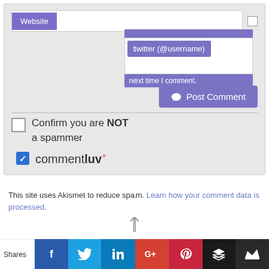[Figure (screenshot): Website comment form with Website input field, checkbox, twitter dropdown overlay showing '@username' field and 'next time I comment' text, Post Comment button, confirm not a spammer checkbox, and CommentLuv+ checkbox]
This site uses Akismet to reduce spam. Learn how your comment data is processed.
[Figure (infographic): Social sharing bar at bottom with Shares label and icons for Facebook, Twitter, LinkedIn, Google+, Pinterest, Buffer/Stack, and Crown icon]